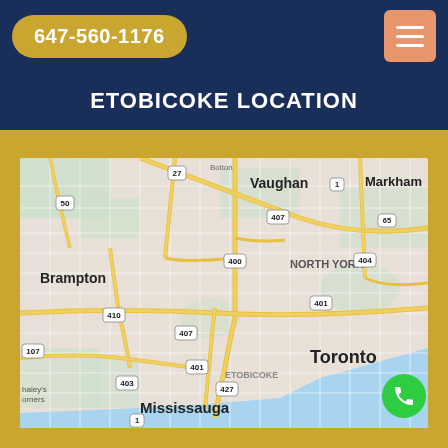647-560-1176
Etobicoke Location
[Figure (map): Google Maps view showing the Greater Toronto Area including Vaughan, Markham, North York, Brampton, Toronto, Etobicoke, Mississauga with highway labels 27, 50, 400, 401, 403, 404, 407, 410, 427, 65, 1, 107]